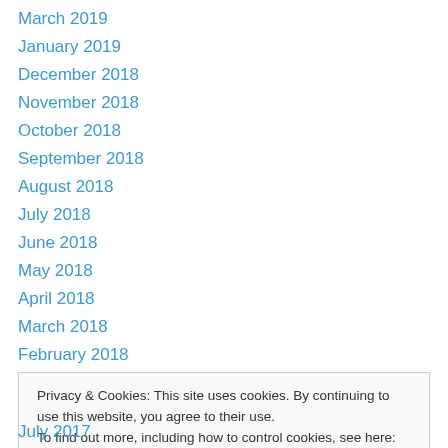March 2019
January 2019
December 2018
November 2018
October 2018
September 2018
August 2018
July 2018
June 2018
May 2018
April 2018
March 2018
February 2018
Privacy & Cookies: This site uses cookies. By continuing to use this website, you agree to their use. To find out more, including how to control cookies, see here: Cookie Policy
July 2017